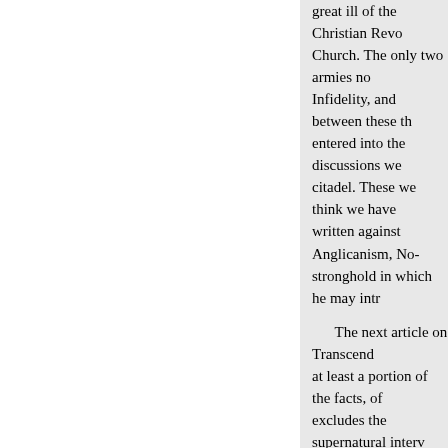great ill of the Christian Revolt— Church. The only two armies now— Infidelity, and between these the— entered into the discussions we h— citadel. These we think we have — written against Anglicanism, No— stronghold in which he may intre—
The next article on Transcende— at least a portion of the facts, of t— excludes the supernatural interve— inductive reasoning, we must ad— the mean time we would say, tha— conversion of unbelievers. No m— fervent prayers of the faithful, of— all the elaborate arguments ever c—
VOL. II. NO. IV.
and one reason why the conversi— upon our wisdom and strength, u— labors are thrown away.
Art. II. — Bibliotheca Sacra and